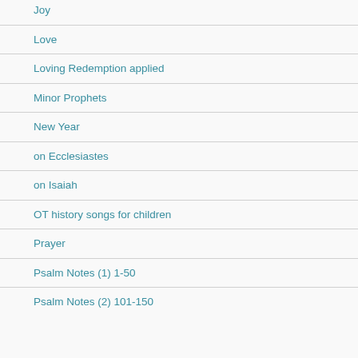Joy
Love
Loving Redemption applied
Minor Prophets
New Year
on Ecclesiastes
on Isaiah
OT history songs for children
Prayer
Psalm Notes (1) 1-50
Psalm Notes (2) 101-150